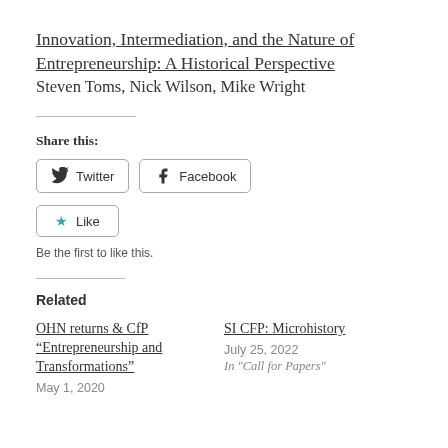Innovation, Intermediation, and the Nature of Entrepreneurship: A Historical Perspective
Steven Toms, Nick Wilson, Mike Wright
Share this:
Twitter  Facebook
Like
Be the first to like this.
Related
OHN returns & CfP "Entrepreneurship and Transformations"
May 1, 2020
SI CFP: Microhistory
July 25, 2022
In "Call for Papers"